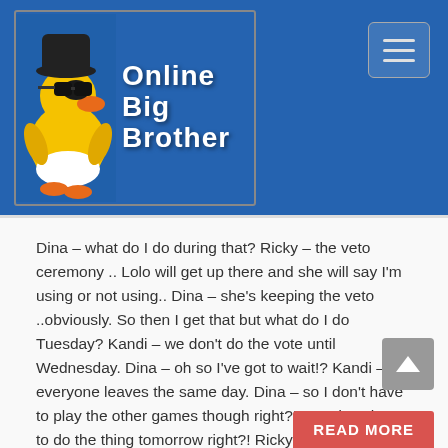[Figure (logo): Online Big Brother website logo with a rubber duck wearing sunglasses and a hat on a blue background]
Dina – what do I do during that? Ricky – the veto ceremony .. Lolo will get up there and she will say I'm using or not using.. Dina – she's keeping the veto ..obviously. So then I get that but what do I do Tuesday? Kandi – we don't do the vote until Wednesday. Dina – oh so I've got to wait!? Kandi – everyone leaves the same day. Dina – so I don't have to play the other games though right?! So I don't have to do the thing tomorrow right?! Ricky – the HOH? Dina – no, yeah! Ricky – tomorrow is the veto ceremony. Dina – oh! So I still have to do that? Ricky – do what? You just have to sit here.. that's all you have to do.